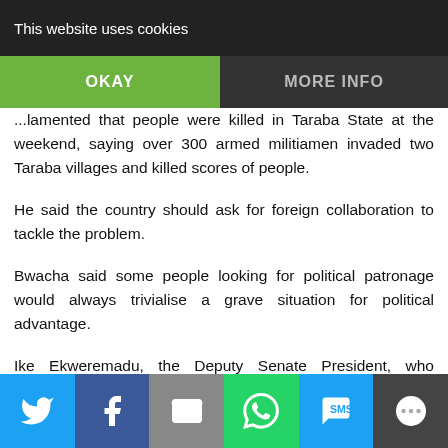This website uses cookies
...lamented that people were killed in Taraba State at the weekend, saying over 300 armed militiamen invaded two Taraba villages and killed scores of people.
He said the country should ask for foreign collaboration to tackle the problem.
Bwacha said some people looking for political patronage would always trivialise a grave situation for political advantage.
Ike Ekweremadu, the Deputy Senate President, who presided over proceedings, urged the country to take the bull by the horns and seek foreign assistance to tackle the problem.
Social share buttons: Twitter, Facebook, Email, WhatsApp, SMS, More